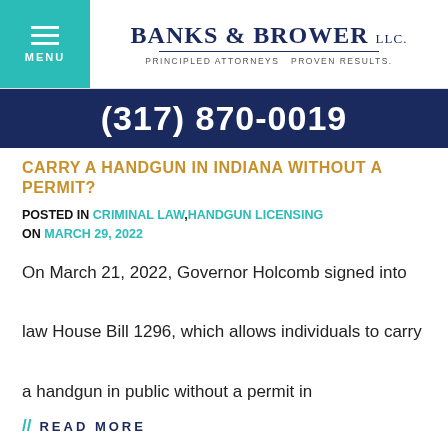MENU | BANKS & BROWER LLC. Principled Attorneys Proven Results.
(317) 870-0019
CARRY A HANDGUN IN INDIANA WITHOUT A PERMIT?
POSTED IN CRIMINAL LAW, HANDGUN LICENSING ON MARCH 29, 2022
On March 21, 2022, Governor Holcomb signed into law House Bill 1296, which allows individuals to carry a handgun in public without a permit in
// READ MORE